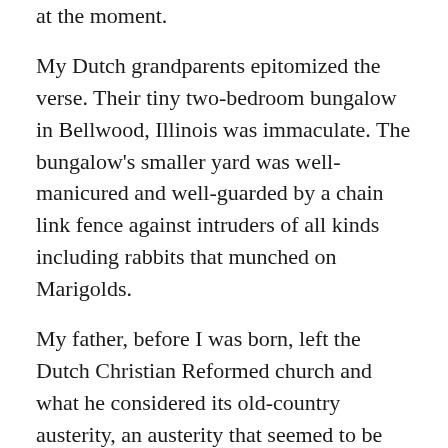at the moment.
My Dutch grandparents epitomized the verse. Their tiny two-bedroom bungalow in Bellwood, Illinois was immaculate. The bungalow's smaller yard was well-manicured and well-guarded by a chain link fence against intruders of all kinds including rabbits that munched on Marigolds.
My father, before I was born, left the Dutch Christian Reformed church and what he considered its old-country austerity, an austerity that seemed to be reinforced by his hot-tempered foul-mouthed truck-driving father, who “cleaned up” for the Sunday Morning service.
My Swedish grandparents and my mother belonged to a Swedish Evangelical Covenant Church in the Andersonville area of Chicago were they also lived. Like